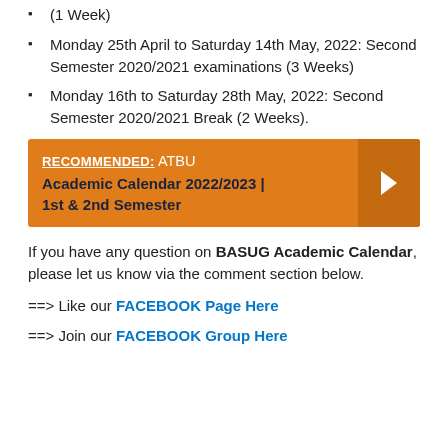(1 Week)
Monday 25th April to Saturday 14th May, 2022: Second Semester 2020/2021 examinations (3 Weeks)
Monday 16th to Saturday 28th May, 2022: Second Semester 2020/2021 Break (2 Weeks).
[Figure (infographic): Orange recommended banner with text 'RECOMMENDED: ATBU Academic Calendar 2022/2023 | 1st & 2nd Semester' and a right-arrow chevron on a darker orange background on the right side.]
If you have any question on BASUG Academic Calendar, please let us know via the comment section below.
==> Like our FACEBOOK Page Here
==> Join our FACEBOOK Group Here